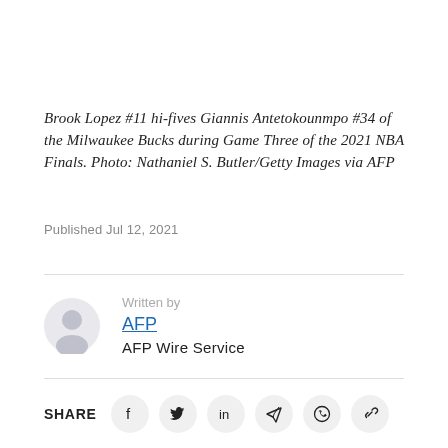Brook Lopez #11 hi-fives Giannis Antetokounmpo #34 of the Milwaukee Bucks during Game Three of the 2021 NBA Finals. Photo: Nathaniel S. Butler/Getty Images via AFP
Published Jul 12, 2021
Written by
AFP
AFP Wire Service